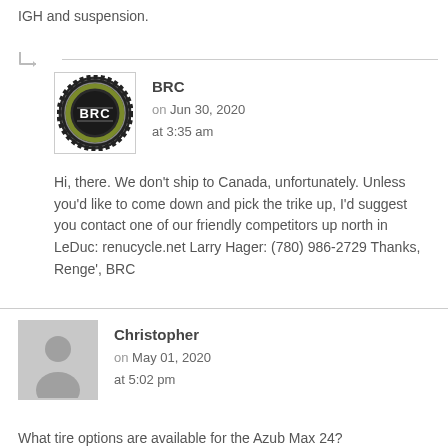IGH and suspension.
BRC
on Jun 30, 2020
at 3:35 am
Hi, there. We don't ship to Canada, unfortunately. Unless you'd like to come down and pick the trike up, I'd suggest you contact one of our friendly competitors up north in LeDuc: renucycle.net Larry Hager: (780) 986-2729 Thanks, Renge', BRC
Christopher
on May 01, 2020
at 5:02 pm
What tire options are available for the Azub Max 24?